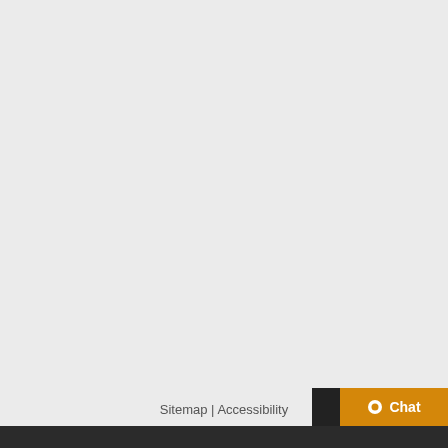Sitemap | Accessibility
[Figure (other): Orange chat button with speech bubble icon and 'Chat' label in bottom right corner]